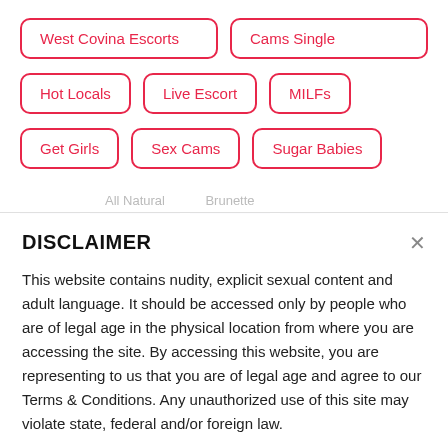West Covina Escorts
Cams Single
Hot Locals
Live Escort
MILFs
Get Girls
Sex Cams
Sugar Babies
DISCLAIMER
This website contains nudity, explicit sexual content and adult language. It should be accessed only by people who are of legal age in the physical location from where you are accessing the site. By accessing this website, you are representing to us that you are of legal age and agree to our Terms & Conditions. Any unauthorized use of this site may violate state, federal and/or foreign law.
While sex-match.org does not create, produce or edit any